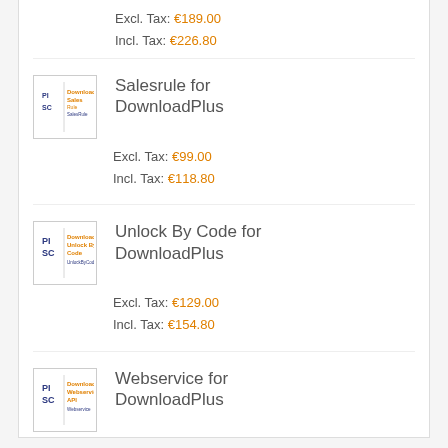Excl. Tax: €189.00
Incl. Tax: €226.80
[Figure (logo): PISC DownloadPlus Salesrule logo]
Salesrule for DownloadPlus
Excl. Tax: €99.00
Incl. Tax: €118.80
[Figure (logo): PISC DownloadPlus Unlock By Code logo]
Unlock By Code for DownloadPlus
Excl. Tax: €129.00
Incl. Tax: €154.80
[Figure (logo): PISC DownloadPlus Webservice API logo]
Webservice for DownloadPlus
Excl. Tax: €99.00
Incl. Tax: €118.80